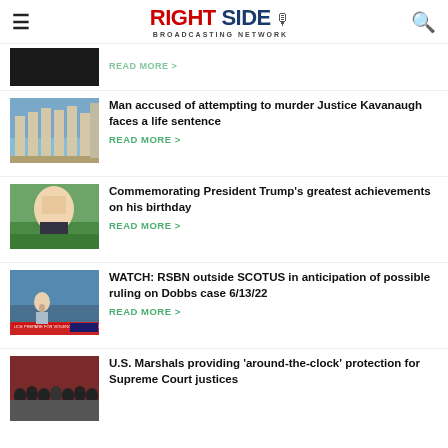RIGHT SIDE BROADCASTING NETWORK
READ MORE >
Man accused of attempting to murder Justice Kavanaugh faces a life sentence
READ MORE >
Commemorating President Trump's greatest achievements on his birthday
READ MORE >
WATCH: RSBN outside SCOTUS in anticipation of possible ruling on Dobbs case 6/13/22
READ MORE >
U.S. Marshals providing 'around-the-clock' protection for Supreme Court justices